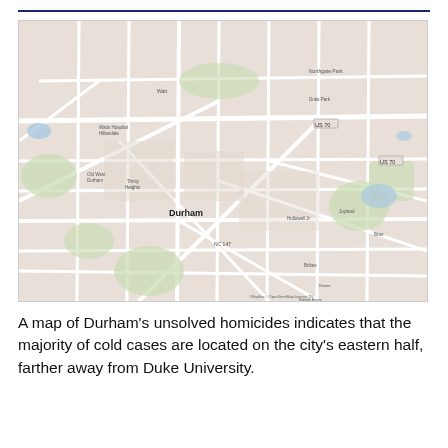[Figure (map): A street map of Durham, NC showing blue location pin markers for unsolved homicide cold cases scattered across the city, with a concentration in the central and eastern portions of the map. Map data attributed to MapBox and OpenStreetMap contributors.]
A map of Durham's unsolved homicides indicates that the majority of cold cases are located on the city's eastern half, farther away from Duke University.